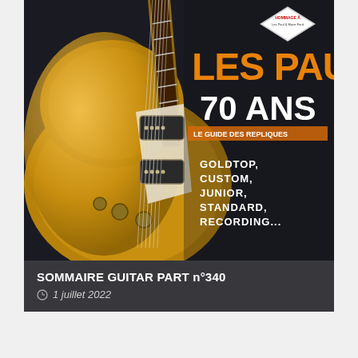[Figure (illustration): Magazine cover of Guitar Part n°340 featuring a golden Les Paul guitar on a dark background. Large orange text reads 'LES PAUL' with '70 ANS' below it in white. Smaller white text lists 'GOLDETOP, CUSTOM, JUNIOR, STANDARD, RECORDING...' On the top right, a diamond-shaped badge reads 'HOMMAGE À Les Paul & Marie Ford'. A subtitle band reads 'LE GUIDE DES REPLIQUES'.]
SOMMAIRE GUITAR PART n°340
1 juillet 2022